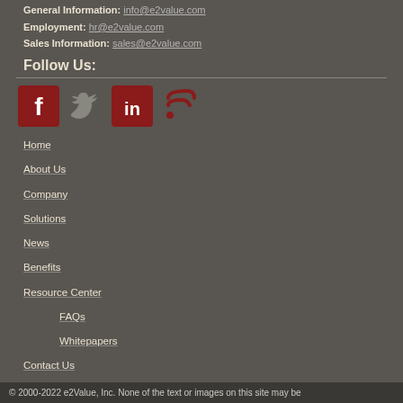General Information: info@e2value.com
Employment: hr@e2value.com
Sales Information: sales@e2value.com
Follow Us:
[Figure (illustration): Social media icons: Facebook (red square with F), Twitter (grey bird), LinkedIn (red square with in), RSS feed (red signal icon)]
Home
About Us
Company
Solutions
News
Benefits
Resource Center
FAQs
Whitepapers
Contact Us
© 2000-2022 e2Value, Inc. None of the text or images on this site may be